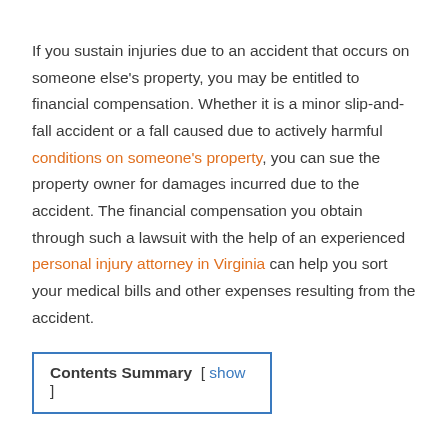If you sustain injuries due to an accident that occurs on someone else's property, you may be entitled to financial compensation. Whether it is a minor slip-and-fall accident or a fall caused due to actively harmful conditions on someone's property, you can sue the property owner for damages incurred due to the accident. The financial compensation you obtain through such a lawsuit with the help of an experienced personal injury attorney in Virginia can help you sort your medical bills and other expenses resulting from the accident.
Contents Summary [ show ]